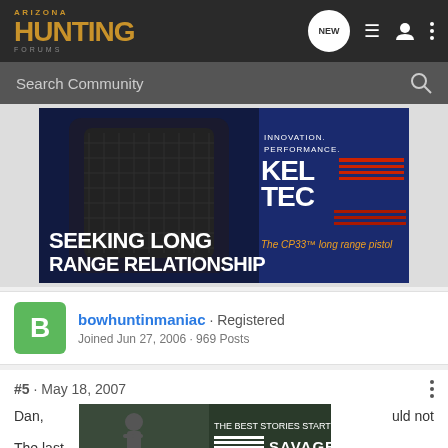Arizona Hunting Forums
[Figure (screenshot): Kel-Tec advertisement banner: 'SEEKING LONG RANGE RELATIONSHIP — The CP33 long range pistol']
bowhuntinmaniac · Registered
Joined Jun 27, 2006 · 969 Posts
#5 · May 18, 2007
[Figure (photo): Savage advertisement: 'THE BEST STORIES START WITH SAVAGE']
Dan,
The last                                                    uld not